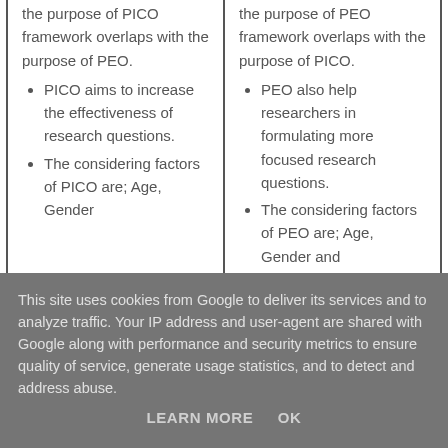the purpose of PICO framework overlaps with the purpose of PEO.
PICO aims to increase the effectiveness of research questions.
The considering factors of PICO are; Age, Gender
the purpose of PEO framework overlaps with the purpose of PICO.
PEO also help researchers in formulating more focused research questions.
The considering factors of PEO are; Age, Gender and
This site uses cookies from Google to deliver its services and to analyze traffic. Your IP address and user-agent are shared with Google along with performance and security metrics to ensure quality of service, generate usage statistics, and to detect and address abuse.
LEARN MORE   OK